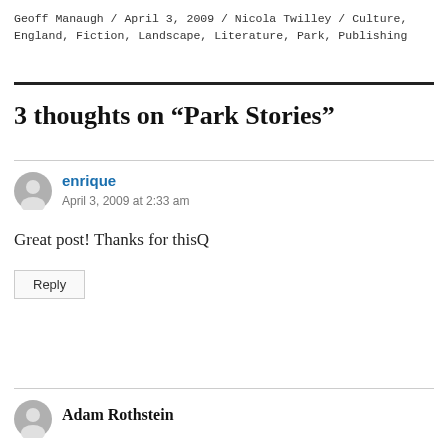Geoff Manaugh / April 3, 2009 / Nicola Twilley / Culture, England, Fiction, Landscape, Literature, Park, Publishing
3 thoughts on “Park Stories”
enrique
April 3, 2009 at 2:33 am
Great post! Thanks for thisQ
Reply
Adam Rothstein